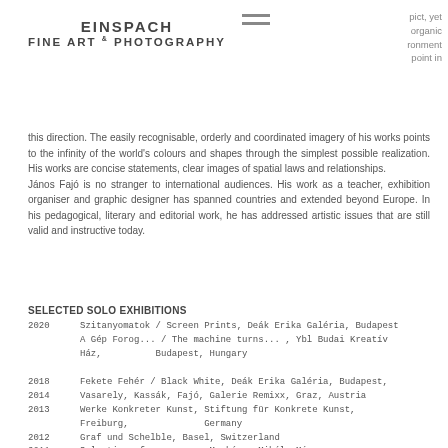EINSPACH FINE ART & PHOTOGRAPHY
pict, yet organic ronment point in this direction. The easily recognisable, orderly and coordinated imagery of his works points to the infinity of the world’s colours and shapes through the simplest possible realization. His works are concise statements, clear images of spatial laws and relationships.
János Fajó is no stranger to international audiences. His work as a teacher, exhibition organiser and graphic designer has spanned countries and extended beyond Europe. In his pedagogical, literary and editorial work, he has addressed artistic issues that are still valid and instructive today.
SELECTED SOLO EXHIBITIONS
2020   Szitanyomatok / Screen Prints, Deák Erika Galéria, Budapest
A Gép Forog... / The machine turns... , Ybl Budai Kreatív Ház,   Budapest, Hungary
2018   Fekete Fehér / Black White, Deák Erika Galéria, Budapest,
2014   Vasarely, Kassák, Fajó, Galerie Remixx, Graz, Austria
2013   Werke Konkreter Kunst, Stiftung für Konkrete Kunst, Freiburg,   Germany
2012   Graf und Schelble, Basel, Switzerland
2011   Selection of an oeuvre, Munkácsy Mihály Múzeum,   Békéscsaba, Hungary
2009   Reliefs and paintings, Galeria Komart, Bratislava, Slovakia
2008   Körök három dimenzióban / Circles in three